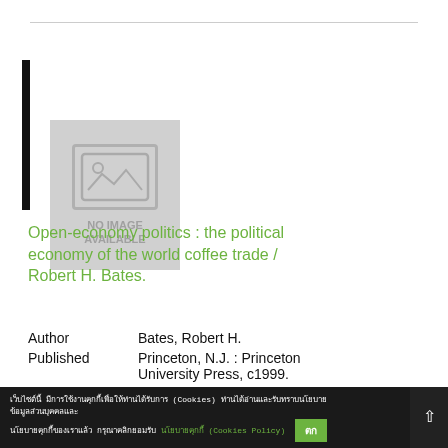[Figure (illustration): Book cover placeholder showing a grey rectangle with a no-image-available icon (a small landscape/mountain image outline) and text 'NO IMAGE AVAILABLE', with a black spine on the left side]
[Figure (other): Save button with floppy disk icon and the word 'save']
Open-economy politics : the political economy of the world coffee trade / Robert H. Bates.
Author    Bates, Robert H.
Published Princeton, N.J. : Princeton University Press, c1999.
Call      HD9199.A2 B27 1999
[Thai text] (Cookies) [Thai text] [Thai text] (Cookies Policy) [OK button] [scroll top]